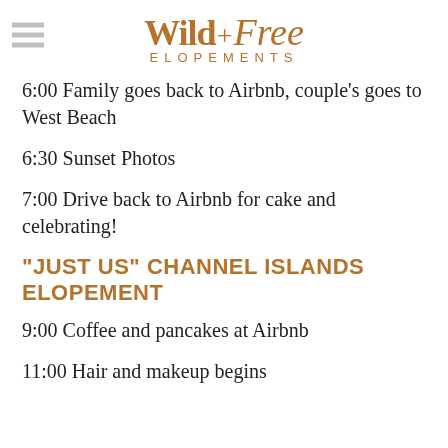Wild + Free ELOPEMENTS
6:00 Family goes back to Airbnb, couple's goes to West Beach
6:30 Sunset Photos
7:00 Drive back to Airbnb for cake and celebrating!
"JUST US" CHANNEL ISLANDS ELOPEMENT
9:00 Coffee and pancakes at Airbnb
11:00 Hair and makeup begins